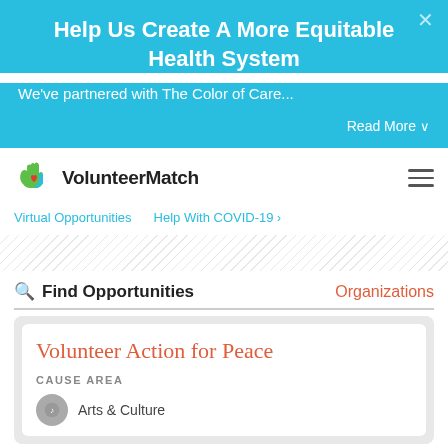Help Us Create A More Equitable Health System
We've partnered with The Color of Care...
Read More ∨
[Figure (logo): VolunteerMatch logo — green and blue hands with a red heart, next to text 'VolunteerMatch']
Virtual Opportunities    Help With COVID-19 ›
🔭 Find Opportunities
Organizations
Volunteer Action for Peace
Cause Area
Arts & Culture